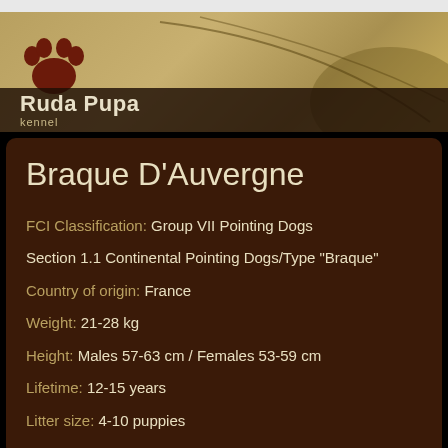[Figure (logo): Ruda Pupa kennel logo with paw print icon and brand name on tan/khaki background with decorative arc lines]
Braque D'Auvergne
FCI Classification: Group VII Pointing Dogs
Section 1.1 Continental Pointing Dogs/Type "Braque"
Country of origin: France
Weight: 21-28 kg
Height: Males 57-63 cm / Females 53-59 cm
Lifetime: 12-15 years
Litter size: 4-10 puppies